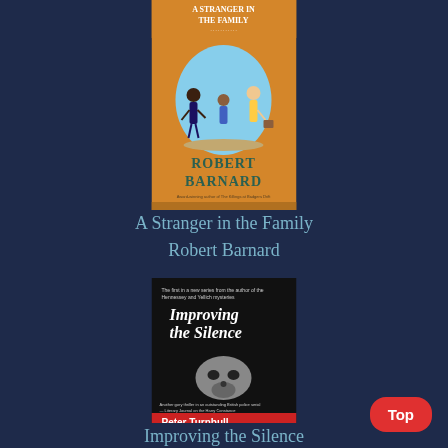[Figure (illustration): Book cover of 'A Stranger in the Family' by Robert Barnard — orange background with circular illustration of children and adults, author name in teal letters]
A Stranger in the Family
Robert Barnard
[Figure (illustration): Book cover of 'Improving the Silence' by Peter Turnbull — dark/black and white photo of a skull, italic title text, red banner at bottom with author name]
Improving the Silence